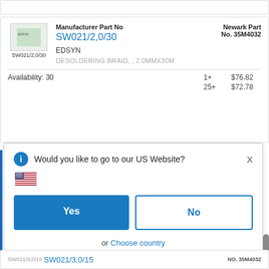Manufacturer Part No SW021/2,0/30
EDSYN
DESOLDERING BRAID, , 2.0MMX30M
Newark Part No. 35M4032
Availability: 30
| Qty | Price |
| --- | --- |
| 1+ | $76.82 |
| 25+ | $72.78 |
Would you like to go to our US Website?
Yes
No
or Choose country
Remember this choice and automatically redirect me in the future
SW021/3,0/15
NO. 35M4032